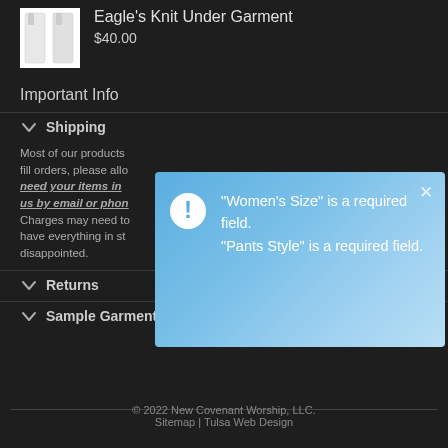[Figure (photo): Small product thumbnail image of Eagle's Knit Under Garment — white robe-like garment shown from front]
Eagle's Knit Under Garment
$40.00
Important Info
Shipping
Most of our products fill orders, please allo need your items in us by email or phon Charges may need to have everything in st disappointed.
[Figure (screenshot): Blue gradient notification popup with exclamation icon showing error messages: "Women's Size" is a required field. "Pants Style" is a required field.]
Returns
Sample Garments
© 2022 New Covenant Worship, LLC.
Sitemap | Tulsa Web Design